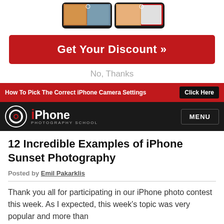[Figure (photo): Two smartphones showing landscape/sunset photos at top of page]
Get Your Discount »
No, Thanks
How To Pick The Correct iPhone Camera Settings  Click Here
[Figure (logo): iPhone Photography School logo with circular camera shutter icon]
MENU
12 Incredible Examples of iPhone Sunset Photography
Posted by Emil Pakarklis
Thank you all for participating in our iPhone photo contest this week. As I expected, this week's topic was very popular and more than